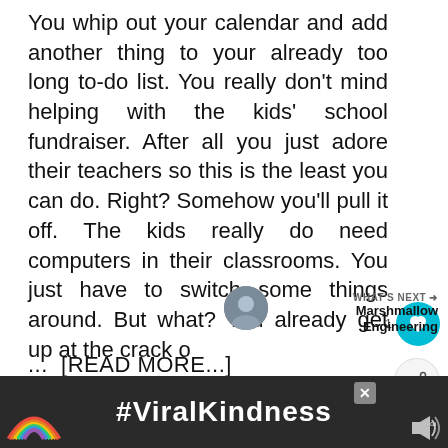You whip out your calendar and add another thing to your already too long to-do list. You really don't mind helping with the kids' school fundraiser. After all you just adore their teachers so this is the least you can do. Right? Somehow you'll pull it off. The kids really do need computers in their classrooms. You just have to switch some things around. But what? You already get up at the crack o
... [READ MORE...]
WHAT'S NEXT → Marshmallow Engineering
JUNE 10, 2016
[Figure (screenshot): Ad banner at bottom with rainbow and #ViralKindness text on dark background]